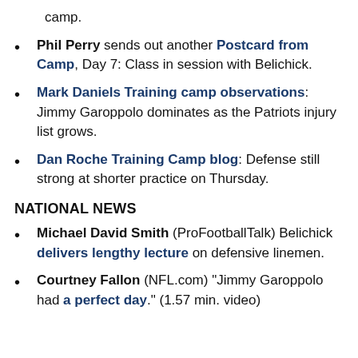camp.
Phil Perry sends out another Postcard from Camp, Day 7: Class in session with Belichick.
Mark Daniels Training camp observations: Jimmy Garoppolo dominates as the Patriots injury list grows.
Dan Roche Training Camp blog: Defense still strong at shorter practice on Thursday.
NATIONAL NEWS
Michael David Smith (ProFootballTalk) Belichick delivers lengthy lecture on defensive linemen.
Courtney Fallon (NFL.com) "Jimmy Garoppolo had a perfect day." (1.57 min. video)